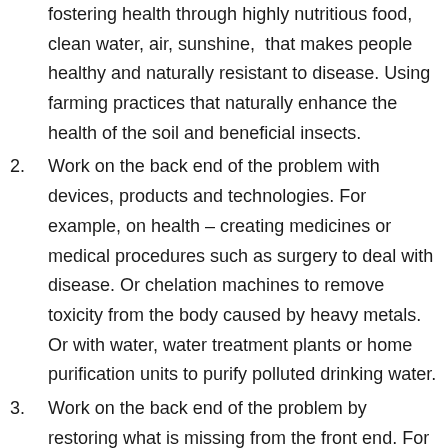fostering health through highly nutritious food, clean water, air, sunshine, that makes people healthy and naturally resistant to disease. Using farming practices that naturally enhance the health of the soil and beneficial insects.
2. Work on the back end of the problem with devices, products and technologies. For example, on health – creating medicines or medical procedures such as surgery to deal with disease. Or chelation machines to remove toxicity from the body caused by heavy metals. Or with water, water treatment plants or home purification units to purify polluted drinking water.
3. Work on the back end of the problem by restoring what is missing from the front end. For example, not allowing disposal of toxic chemicals or refuse into the oceans or waterways. Not allowing poisons in the food or home or personal care products that cause disease.